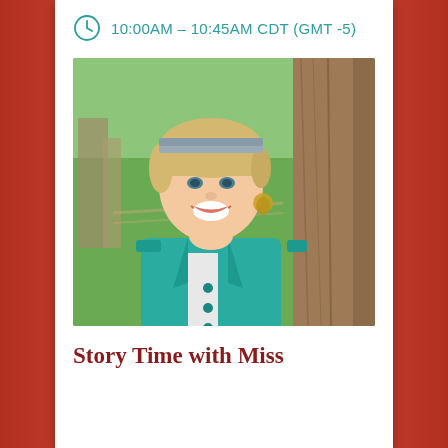10:00AM – 10:45AM CDT (GMT -5)
[Figure (photo): A smiling blonde woman wearing a teal/turquoise jacket, leaning against a tree trunk with a green park background. She has short blonde hair with a headband and dangling earrings.]
Story Time with Miss